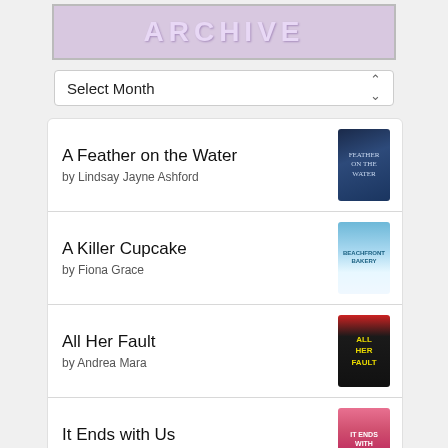[Figure (illustration): Archive banner with light purple/lavender background and bold uppercase ARCHIVE text]
Select Month
A Feather on the Water by Lindsay Jayne Ashford
A Killer Cupcake by Fiona Grace
All Her Fault by Andrea Mara
It Ends with Us by Colleen Hoover
Not Me by Kate Bold